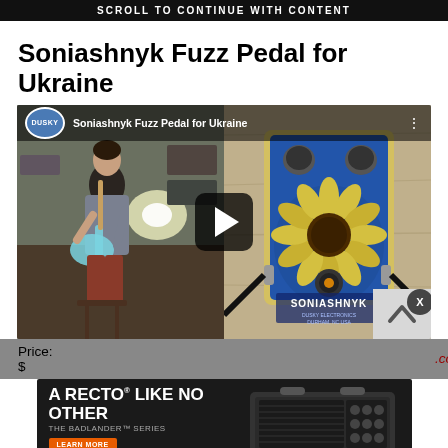SCROLL TO CONTINUE WITH CONTENT
Soniashnyk Fuzz Pedal for Ukraine
[Figure (screenshot): YouTube video thumbnail showing a guitarist on the left and a Soniashnyk Fuzz pedal with sunflower design on the right, with a play button overlay. Channel: Dusky Electronics.]
Price: $...  .com.
[Figure (other): Mesa/Boogie advertisement for the Badlander Series amplifier. Text reads: A RECTO LIKE NO OTHER / THE BADLANDER SERIES / LEARN MORE / MESA/BOOGIE. Shows image of amplifier head.]